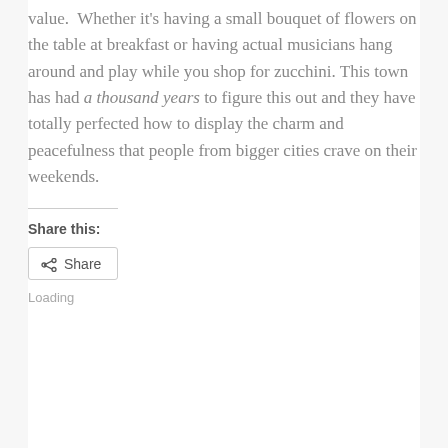value.  Whether it's having a small bouquet of flowers on the table at breakfast or having actual musicians hang around and play while you shop for zucchini. This town has had a thousand years to figure this out and they have totally perfected how to display the charm and peacefulness that people from bigger cities crave on their weekends.
Share this:
Share
Loading